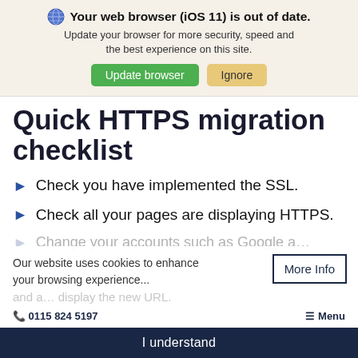Your web browser (iOS 11) is out of date. Update your browser for more security, speed and the best experience on this site. [Update browser] [Ignore]
Quick HTTPS migration checklist
Check you have implemented the SSL.
Check all your pages are displaying HTTPS.
Change your accounts such as Google a… to display the new URL.
Our website uses cookies to enhance your browsing experience...
More Info
Check for broken links.
I understand
0115 824 5197   ≡ Menu